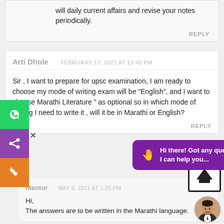will daily current affairs and revise your notes periodically.
REPLY
Arti Dhole   FEBRUARY 17, 2021 AT 10:40 PM
Sir , I want to prepare for upsc examination, I am ready to choose my mode of writing exam will be “English”, and I want to choose Marathi Literature ” as optional so in which mode of writing I need to write it , will it be in Marathi or English?
REPLY
Mentor   MAY 8, 2021 AT 1:25 PM
Hi,
The answers are to be written in the Marathi language.